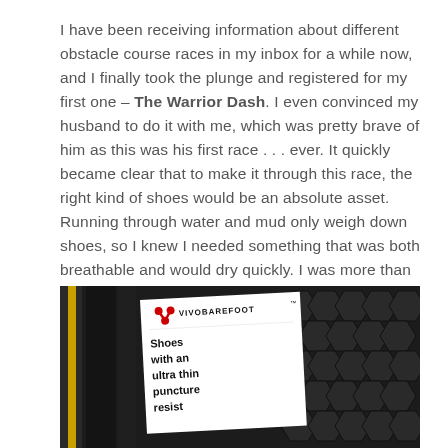I have been receiving information about different obstacle course races in my inbox for a while now, and I finally took the plunge and registered for my first one – The Warrior Dash. I even convinced my husband to do it with me, which was pretty brave of him as this was his first race . . . ever. It quickly became clear that to make it through this race, the right kind of shoes would be an absolute asset. Running through water and mud only weigh down shoes, so I knew I needed something that was both breathable and would dry quickly. I was more than a little excited when I was introduced to the Vivobarefoot line as I've been enjoying running in minimalist shoes for a while now.
[Figure (photo): Close-up photo of a Vivobarefoot shoe with a white label tag visible showing the Vivobarefoot logo (red Y-shaped symbol) and text 'VIVOBAREFOOT™ Shoes with an ultra thin puncture resist...' The shoe sole shows a dark hexagonal tread pattern. A yellow strap or lace is partially visible on the left.]